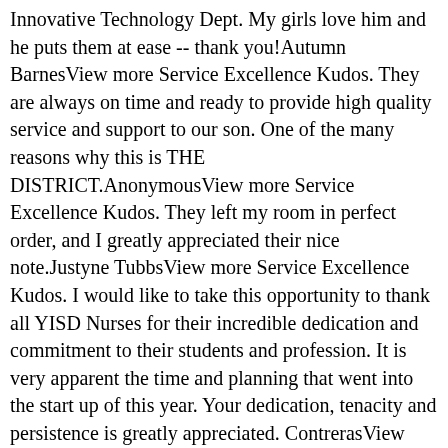Innovative Technology Dept. My girls love him and he puts them at ease -- thank you!Autumn BarnesView more Service Excellence Kudos. They are always on time and ready to provide high quality service and support to our son. One of the many reasons why this is THE DISTRICT.AnonymousView more Service Excellence Kudos. They left my room in perfect order, and I greatly appreciated their nice note.Justyne TubbsView more Service Excellence Kudos. I would like to take this opportunity to thank all YISD Nurses for their incredible dedication and commitment to their students and profession. It is very apparent the time and planning that went into the start up of this year. Your dedication, tenacity and persistence is greatly appreciated. ContrerasView more Service Excellence Kudos. On behalf of my kids, faculty and community, a sincere Thank you! Kudos to Mr. Enrique Herrera at Hanks High School!Thank you Mr. Herrera for your excellent communication with parents and a great freshman orientation! JaimeView more Service Excellence Kudos. Every day our